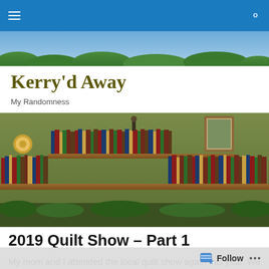Kerry'd Away – navigation bar with hamburger menu and search icon
[Figure (photo): Header banner with blue sky and green foliage background]
Kerry'd Away
My Randomness
[Figure (photo): Photograph of a long wooden bookshelf filled with many books, with decorative items on top, against a green wall]
2019 Quilt Show – Part 1
My mom and I attended the local quilt show again this year. We were a bit disappointed, though. I had hoped for
Follow  …